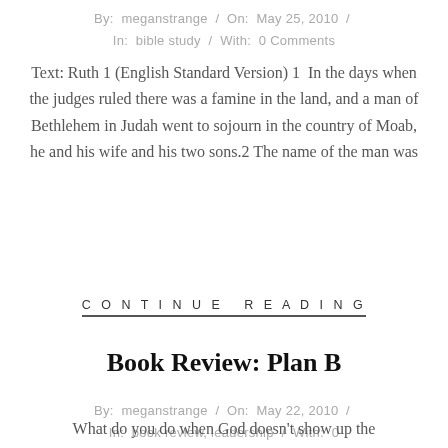By: meganstrange / On: May 25, 2010 / In: bible study / With: 0 Comments
Text: Ruth 1 (English Standard Version) 1 In the days when the judges ruled there was a famine in the land, and a man of Bethlehem in Judah went to sojourn in the country of Moab, he and his wife and his two sons.2 The name of the man was
CONTINUE READING
Book Review: Plan B
By: meganstrange / On: May 22, 2010 / In: book review, leadership / With: 0 Comments
What do you do when God doesn't show up the